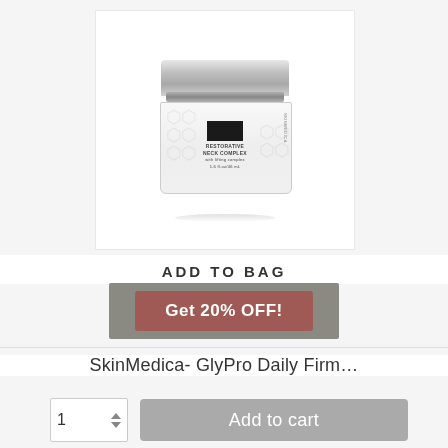[Figure (photo): SkinMedica product jar (Restorative Neck Complex) with silver lid on a white background]
ADD TO BAG
Get 20% OFF!
SkinMedica- GlyPro Daily Firm…
1
Add to cart